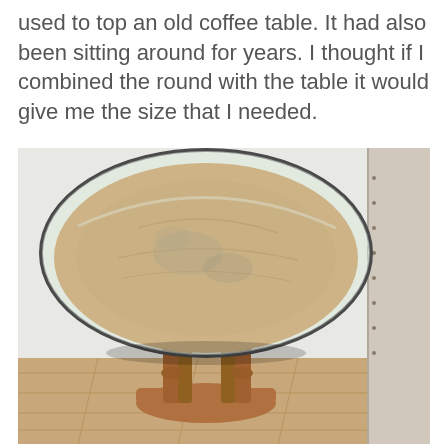used to top an old coffee table. It had also been sitting around for years. I thought if I combined the round with the table it would give me the size that I needed.
[Figure (photo): A round glass-topped table with an old wooden base featuring turned legs and a lower shelf, placed indoors on a wood floor with a white wall background and part of an upholstered headboard visible on the right.]